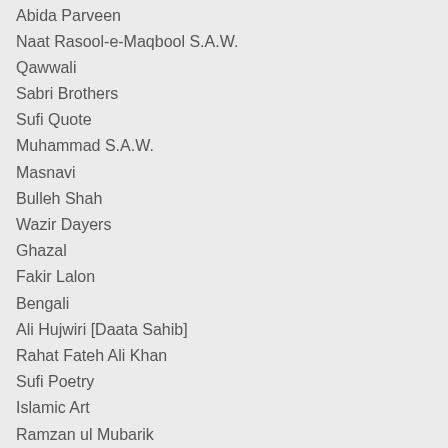Abida Parveen
Naat Rasool-e-Maqbool S.A.W.
Qawwali
Sabri Brothers
Sufi Quote
Muhammad S.A.W.
Masnavi
Bulleh Shah
Wazir Dayers
Ghazal
Fakir Lalon
Bengali
Ali Hujwiri [Daata Sahib]
Rahat Fateh Ali Khan
Sufi Poetry
Islamic Art
Ramzan ul Mubarik
Faiz Ahmed Faiz
Moinuddin Chishti